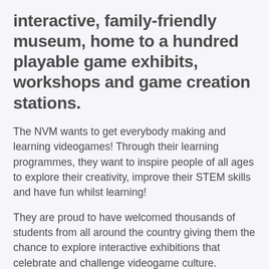interactive, family-friendly museum, home to a hundred playable game exhibits, workshops and game creation stations.
The NVM wants to get everybody making and learning videogames! Through their learning programmes, they want to inspire people of all ages to explore their creativity, improve their STEM skills and have fun whilst learning!
They are proud to have welcomed thousands of students from all around the country giving them the chance to explore interactive exhibitions that celebrate and challenge videogame culture.